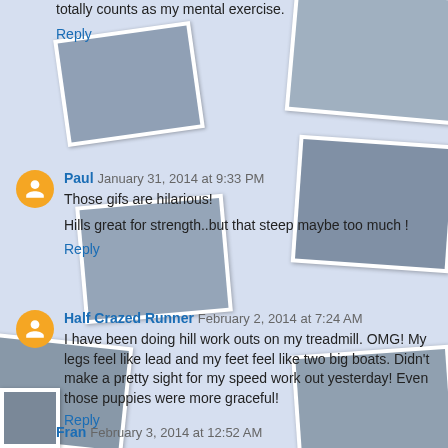totally counts as my mental exercise.
Reply
Paul January 31, 2014 at 9:33 PM
Those gifs are hilarious!
Hills great for strength..but that steep maybe too much !
Reply
Half Crazed Runner February 2, 2014 at 7:24 AM
I have been doing hill work outs on my treadmill. OMG! My legs feel like lead and my feet feel like two big boats. Didn't make a pretty sight for my speed work out yesterday! Even those puppies were more graceful!
Reply
Fran February 3, 2014 at 12:52 AM